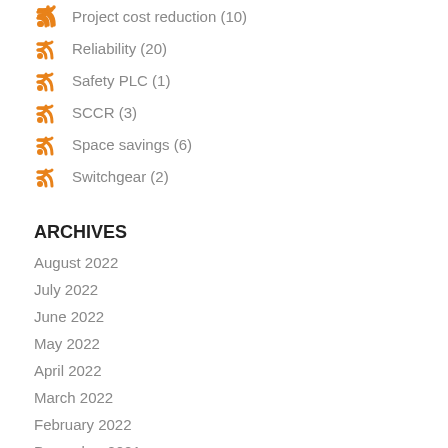Project cost reduction (10)
Reliability (20)
Safety PLC (1)
SCCR (3)
Space savings (6)
Switchgear (2)
ARCHIVES
August 2022
July 2022
June 2022
May 2022
April 2022
March 2022
February 2022
December 2021